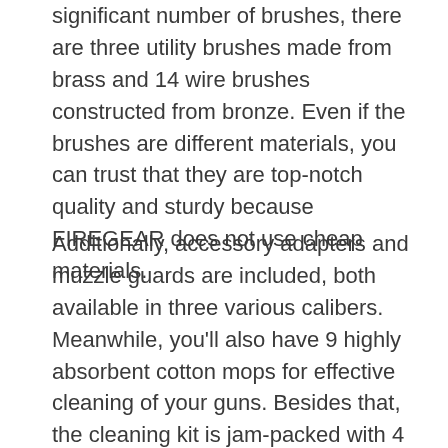significant number of brushes, there are three utility brushes made from brass and 14 wire brushes constructed from bronze. Even if the brushes are different materials, you can trust that they are top-notch quality and sturdy because FIREGEAR does not use cheap materials.
Additionally, accessory adapters and muzzle guards are included, both available in three various calibers. Meanwhile, you'll also have 9 highly absorbent cotton mops for effective cleaning of your guns. Besides that, the cleaning kit is jam-packed with 4 slotted patch loops, one black powder jag, and 12 pointed spear jags made from high-quality nylon plastic, so they are not easily